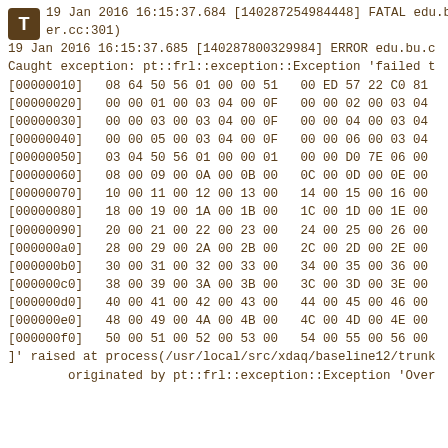19 Jan 2016 16:15:37.684 [140287254984448] FATAL edu.bu.cer.cc:301)
19 Jan 2016 16:15:37.685 [140287800329984] ERROR edu.bu.c
Caught exception: pt::frl::exception::Exception 'failed t
[00000010]   08 64 50 56 01 00 00 51   00 ED 57 22 C0 81
[00000020]   00 00 01 00 03 04 00 0F   00 00 02 00 03 04
[00000030]   00 00 03 00 03 04 00 0F   00 00 04 00 03 04
[00000040]   00 00 05 00 03 04 00 0F   00 00 06 00 03 04
[00000050]   03 04 50 56 01 00 00 01   00 00 D0 7E 06 00
[00000060]   08 00 09 00 0A 00 0B 00   0C 00 0D 00 0E 00
[00000070]   10 00 11 00 12 00 13 00   14 00 15 00 16 00
[00000080]   18 00 19 00 1A 00 1B 00   1C 00 1D 00 1E 00
[00000090]   20 00 21 00 22 00 23 00   24 00 25 00 26 00
[000000a0]   28 00 29 00 2A 00 2B 00   2C 00 2D 00 2E 00
[000000b0]   30 00 31 00 32 00 33 00   34 00 35 00 36 00
[000000c0]   38 00 39 00 3A 00 3B 00   3C 00 3D 00 3E 00
[000000d0]   40 00 41 00 42 00 43 00   44 00 45 00 46 00
[000000e0]   48 00 49 00 4A 00 4B 00   4C 00 4D 00 4E 00
[000000f0]   50 00 51 00 52 00 53 00   54 00 55 00 56 00
]' raised at process(/usr/local/src/xdaq/baseline12/trunk
        originated by pt::frl::exception::Exception 'Over